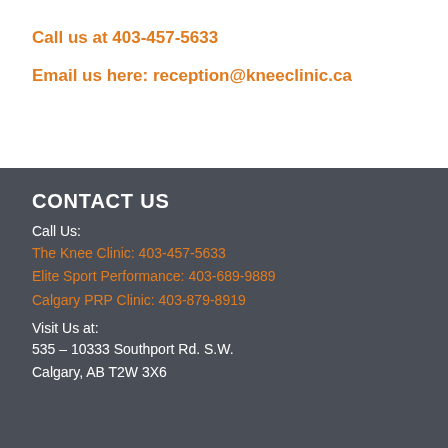Call us at 403-457-5633
Email us here: reception@kneeclinic.ca
CONTACT US
Call Us:
The Knee Clinic: 403-457-5633
Elite Sport Performance: 403-689-9889
Calgary PRP Clinic: 403-879-8919
Visit Us at:
535 – 10333 Southport Rd. S.W.
Calgary, AB T2W 3X6